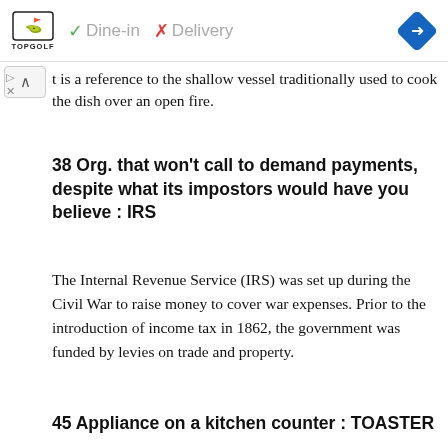[Figure (screenshot): Advertisement banner for Topgolf showing logo, dine-in checkmark, delivery cross, and navigation icon]
t is a reference to the shallow vessel traditionally used to cook the dish over an open fire.
38 Org. that won't call to demand payments, despite what its impostors would have you believe : IRS
The Internal Revenue Service (IRS) was set up during the Civil War to raise money to cover war expenses. Prior to the introduction of income tax in 1862, the government was funded by levies on trade and property.
45 Appliance on a kitchen counter : TOASTER